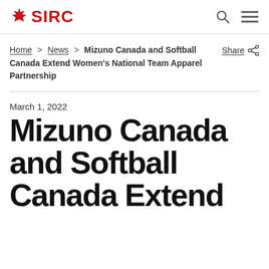SIRC
Home > News > Mizuno Canada and Softball Canada Extend Women's National Team Apparel Partnership
Share
March 1, 2022
Mizuno Canada and Softball Canada Extend